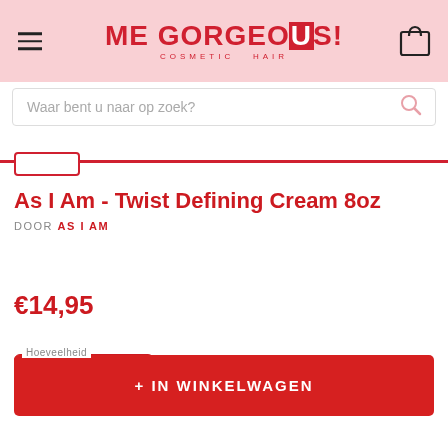[Figure (logo): Me Gorgeous! Cosmetic Hair logo in red on pink background, with hamburger menu and cart icon]
Waar bent u naar op zoek?
As I Am - Twist Defining Cream 8oz
DOOR AS I AM
€14,95
Hoeveelheid
1
+ IN WINKELWAGEN